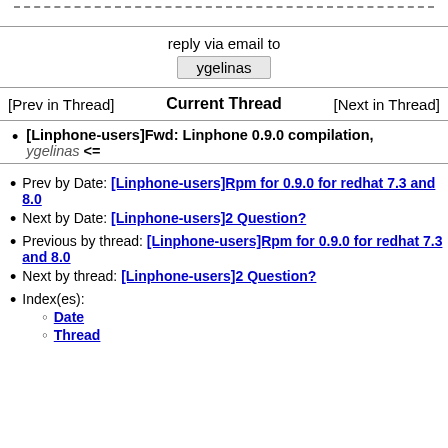- - - - - - - - - - - - - - - - - - - - - - - - - - - - - - - - - - - - - - - -
reply via email to
ygelinas
[Prev in Thread]   Current Thread   [Next in Thread]
[Linphone-users]Fwd: Linphone 0.9.0 compilation, ygelinas <=
Prev by Date: [Linphone-users]Rpm for 0.9.0 for redhat 7.3 and 8.0
Next by Date: [Linphone-users]2 Question?
Previous by thread: [Linphone-users]Rpm for 0.9.0 for redhat 7.3 and 8.0
Next by thread: [Linphone-users]2 Question?
Index(es): Date Thread